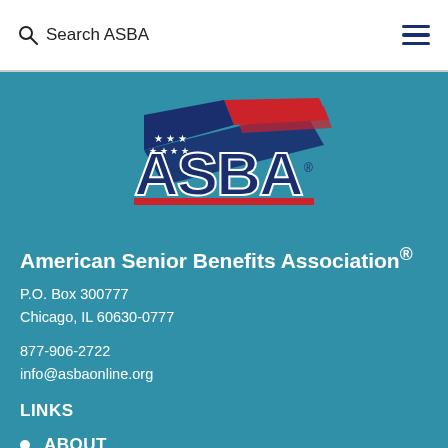Search ASBA
[Figure (logo): ASBA logo — American Senior Benefits Association stylized logo with red, white, and blue colors, featuring stars and stripes design above the bold letters ASBA with a registered trademark symbol]
American Senior Benefits Association®
P.O. Box 300777
Chicago, IL 60630-0777
877-906-2722
info@asbaonline.org
LINKS
ABOUT